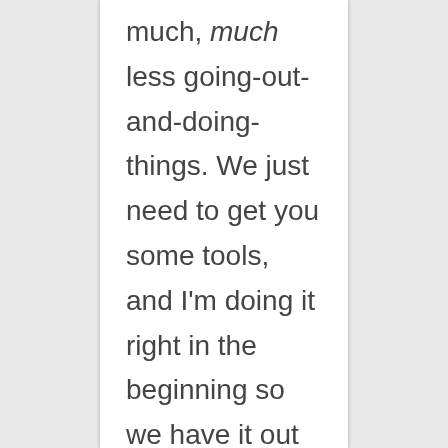much, much less going-out-and-doing-things. We just need to get you some tools, and I'm doing it right in the beginning so we have it out of the way.

And then if you're